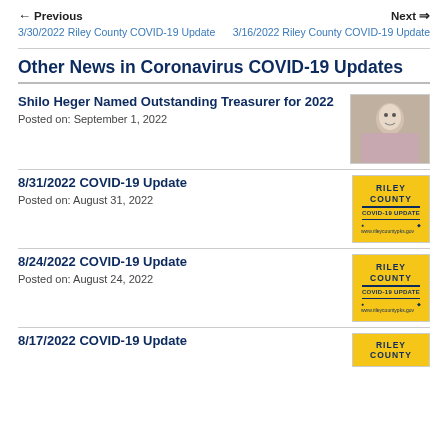← Previous | Next →
3/30/2022 Riley County COVID-19 Update | 3/16/2022 Riley County COVID-19 Update
Other News in Coronavirus COVID-19 Updates
Shilo Heger Named Outstanding Treasurer for 2022
Posted on: September 1, 2022
8/31/2022 COVID-19 Update
Posted on: August 31, 2022
8/24/2022 COVID-19 Update
Posted on: August 24, 2022
8/17/2022 COVID-19 Update